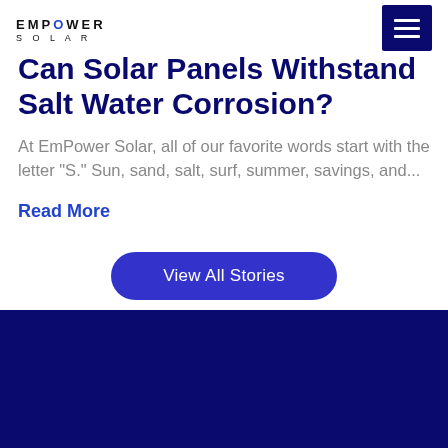EmPower Solar
Can Solar Panels Withstand Salt Water Corrosion?
At EmPower Solar, all of our favorite words start with the letter "S." Sun, sand, salt, surf, summer, savings, and...
Read More
View All Stories